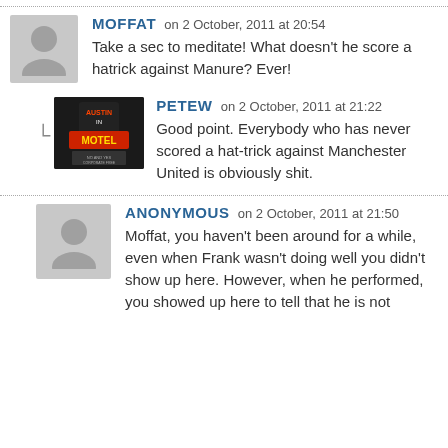MOFFAT on 2 October, 2011 at 20:54
Take a sec to meditate! What doesn't he score a hatrick against Manure? Ever!
PETEW on 2 October, 2011 at 21:22
Good point. Everybody who has never scored a hat-trick against Manchester United is obviously shit.
ANONYMOUS on 2 October, 2011 at 21:50
Moffat, you haven't been around for a while, even when Frank wasn't doing well you didn't show up here. However, when he performed, you showed up here to tell that he is not